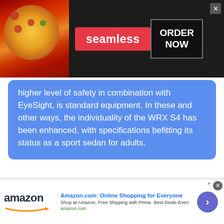[Figure (screenshot): Seamless food delivery advertisement banner with dark background, pizza image on left, red Seamless logo badge in center, and ORDER NOW button in box on right with close X button]
higher level of safety in combination with EyeSight, is standard equipment. In these and other ways, the individuality of the WRX S4 has been enhanced, with specifications befitting its status as a sport sedan for adults.
– By: Chris Chin
[Figure (logo): eBay logo in multicolor letters]
[Figure (screenshot): Amazon.com advertisement: Online Shopping for Everyone. Shop at Amazon. Free Shipping with Prime. Best Deals Ever! amazon.com with navigation arrow button]